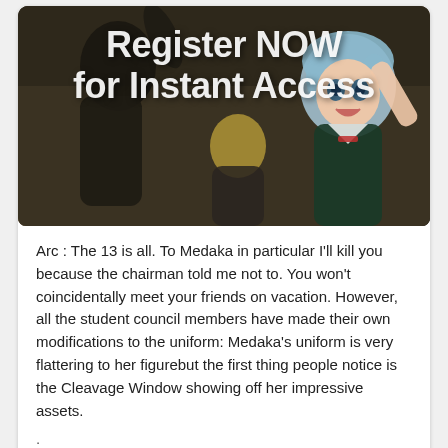[Figure (illustration): Anime-style illustration with text overlay reading 'Register NOW for Instant Access' over a scene with anime characters]
Arc : The 13 is all. To Medaka in particular I'll kill you because the chairman told me not to. You won't coincidentally meet your friends on vacation. However, all the student council members have made their own modifications to the uniform: Medaka's uniform is very flattering to her figurebut the first thing people notice is the Cleavage Window showing off her impressive assets.
.
Right after, Medaka starts to see no value in Zenkichi and begins